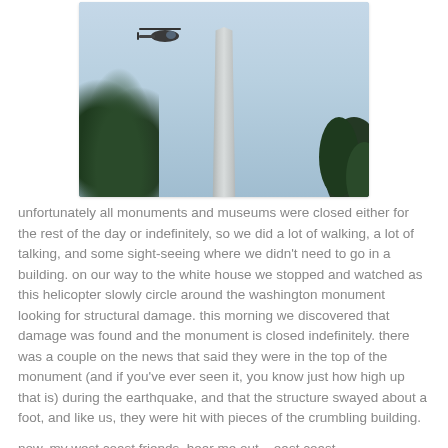[Figure (photo): Photo of the Washington Monument obelisk with a helicopter circling it. Trees are visible in the lower left. Sky is light blue with clouds.]
unfortunately all monuments and museums were closed either for the rest of the day or indefinitely, so we did a lot of walking, a lot of talking, and some sight-seeing where we didn't need to go in a building. on our way to the white house we stopped and watched as this helicopter slowly circle around the washington monument looking for structural damage. this morning we discovered that damage was found and the monument is closed indefinitely. there was a couple on the news that said they were in the top of the monument (and if you've ever seen it, you know just how high up that is) during the earthquake, and that the structure swayed about a foot, and like us, they were hit with pieces of the crumbling building.
now, my west coast friends, hear me out... east coast